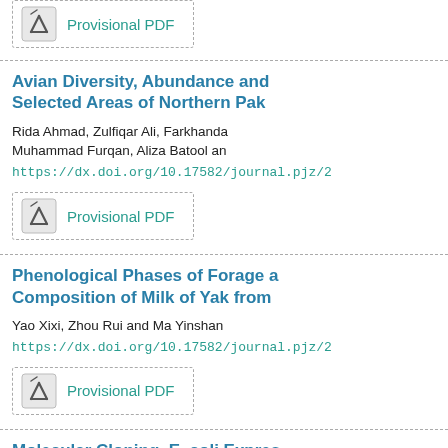[Figure (other): Provisional PDF button with PDF icon at top of page (partial, cropped)]
Avian Diversity, Abundance and Selected Areas of Northern Pak
Rida Ahmad, Zulfiqar Ali, Farkhanda Muhammad Furqan, Aliza Batool an
https://dx.doi.org/10.17582/journal.pjz/2
[Figure (other): Provisional PDF button with PDF icon]
Phenological Phases of Forage a Composition of Milk of Yak from
Yao Xixi, Zhou Rui and Ma Yinshan
https://dx.doi.org/10.17582/journal.pjz/2
[Figure (other): Provisional PDF button with PDF icon]
Molecular Cloning, E. coli Expres Aminotransferase from Pyroco
Muhammad Shahid Nadeem, Jalalu